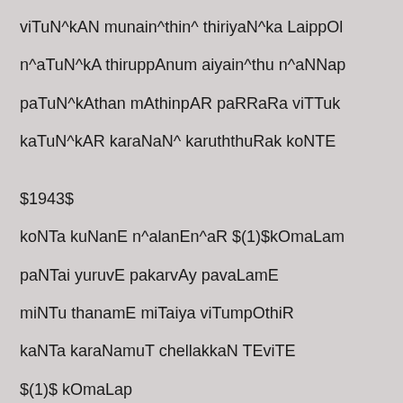viTuN^kAN munain^thin^ thiriyaN^ka LaippOl
n^aTuN^kA thiruppAnum aiyain^thu n^aNNap
paTuN^kAthan mAthinpAR paRRaRa viTTuk
kaTuN^kAR karaNaN^ karuththuRak koNTE
$1943$
koNTa kuNanE n^alanEn^aR $(1)$kOmaLam
paNTai yuruvE pakarvAy pavaLamE
miNTu thanamE miTaiya viTumpOthiR
kaNTa karaNamuT chellakkaN TEviTE
$(1)$ kOmaLap